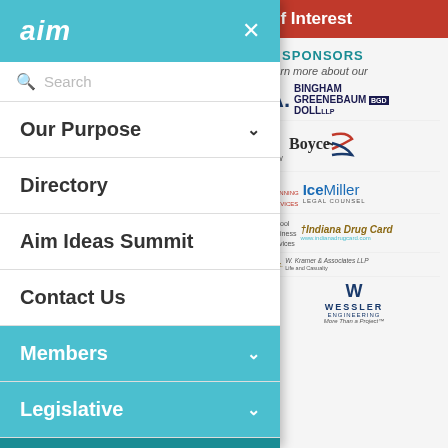[Figure (screenshot): Mobile navigation menu overlay on a website. Left panel shows teal header with 'aim' logo and X close button, search bar, and menu items: Our Purpose (with chevron), Directory, Aim Ideas Summit, Contact Us, Members (teal, with chevron), Legislative (teal, with chevron), Media (dark teal, with chevron). Right side partially visible background shows red bar with 'of Interest', sponsors section with 'Y SPONSORS' and 'earn more about our', and sponsor logos: Bingham Greenebaum Doll, Boyce, Ice Miller Legal Counsel, Indiana Drug Card, W. Kramer & Associates LLP, Wessler Engineering.]